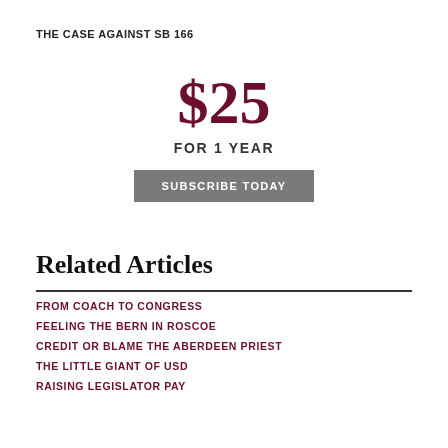THE CASE AGAINST SB 166
$25 FOR 1 YEAR SUBSCRIBE TODAY
Related Articles
FROM COACH TO CONGRESS
FEELING THE BERN IN ROSCOE
CREDIT OR BLAME THE ABERDEEN PRIEST
THE LITTLE GIANT OF USD
RAISING LEGISLATOR PAY